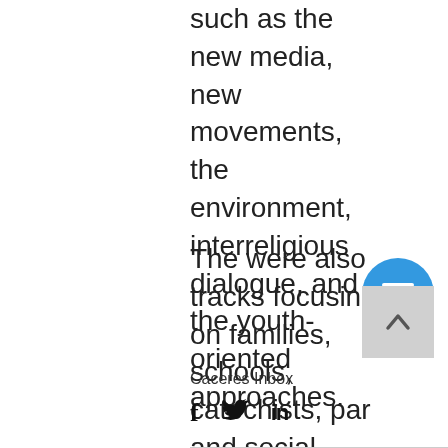such as the new media, new movements, the environment, interreligious dialogue, and the youth-oriented approaches.
The were also tracks focusing on families, schools, catechists, par and social justice. CBCPNews
[Figure (other): Blue circular menu button with three horizontal white lines (hamburger icon)]
[Figure (other): Gray square scroll-to-top button with upward chevron arrow]
Caceres Inbox
[Figure (other): Social share icons: Facebook (f), Twitter bird, LinkedIn (in)]
Horizontal divider line